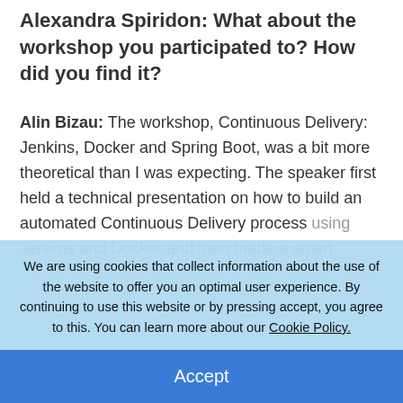Alexandra Spiridon: What about the workshop you participated to? How did you find it?
Alin Bizau: The workshop, Continuous Delivery: Jenkins, Docker and Spring Boot, was a bit more theoretical than I was expecting. The speaker first held a technical presentation on how to build an automated Continuous Delivery process using Jenkins and Docker and then made a smart...
We are using cookies that collect information about the use of the website to offer you an optimal user experience. By continuing to use this website or by pressing accept, you agree to this. You can learn more about our Cookie Policy.
Accept